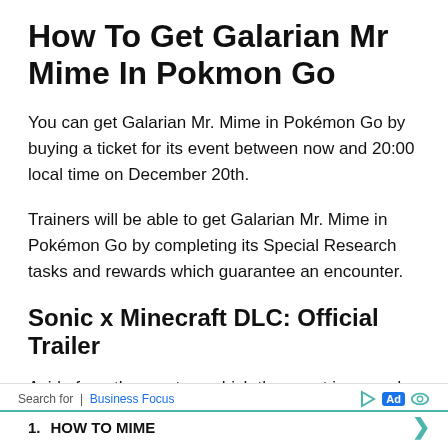How To Get Galarian Mr Mime In Pokmon Go
You can get Galarian Mr. Mime in Pokémon Go by buying a ticket for its event between now and 20:00 local time on December 20th.
Trainers will be able to get Galarian Mr. Mime in Pokémon Go by completing its Special Research tasks and rewards which guarantee an encounter.
Sonic x Minecraft DLC: Official Trailer
Aside from the creature which the event is named after, the special occasion also provides Exclusive Field Research
Search for | Business Focus  Ad  1. HOW TO MIME